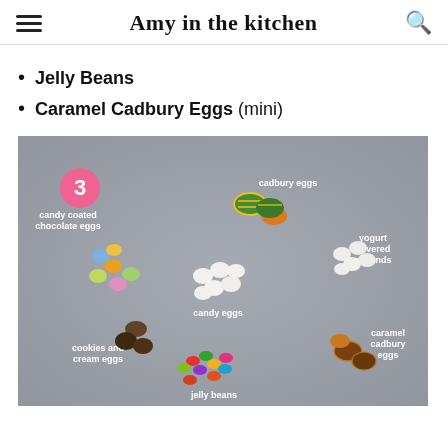Amy in the kitchen
Jelly Beans
Caramel Cadbury Eggs (mini)
[Figure (photo): Flat lay photo of various Easter candies on a gray surface, labeled: candy coated chocolate eggs (colorful), cadbury eggs (decorated), yogurt covered almonds (white), candy eggs (white oval), cookies and cream eggs (dark), jelly beans (colorful), caramel cadbury eggs (brown). Number 3 in a pink circle top-left.]